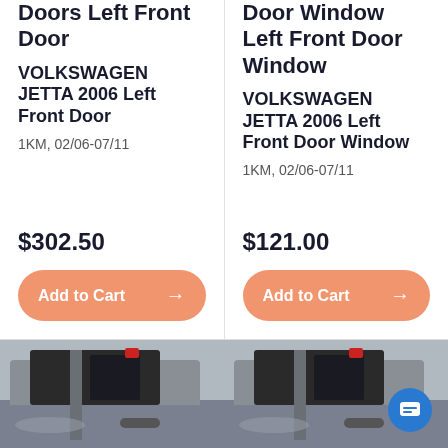Doors Left Front Door
VOLKSWAGEN JETTA 2006 Left Front Door
1KM, 02/06-07/11
$302.50
Add to Cart →
Door Window Left Front Door Window
VOLKSWAGEN JETTA 2006 Left Front Door Window
1KM, 02/06-07/11
$121.00
Add to Cart →
[Figure (photo): Photo of a silver Volkswagen Jetta left front car door, shown removed, with window opening visible, taken in a warehouse setting.]
[Figure (photo): Photo of a silver Volkswagen Jetta left front door window area, shown removed, with window opening visible, taken in a warehouse setting. A blue chat icon is visible in the bottom right corner.]